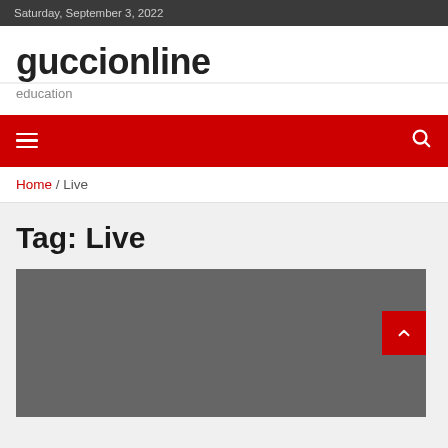Saturday, September 3, 2022
guccionline
education
[Figure (screenshot): Red navigation bar with hamburger menu icon on left and search icon on right]
Home / Live
Tag: Live
[Figure (photo): Gray placeholder image block for an article thumbnail]